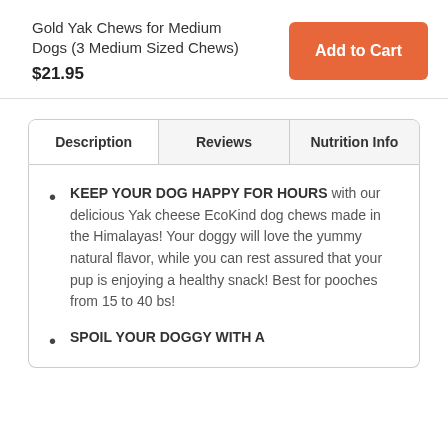Gold Yak Chews for Medium Dogs (3 Medium Sized Chews)
$21.95
Add to Cart
Description
Reviews
Nutrition Info
KEEP YOUR DOG HAPPY FOR HOURS with our delicious Yak cheese EcoKind dog chews made in the Himalayas! Your doggy will love the yummy natural flavor, while you can rest assured that your pup is enjoying a healthy snack! Best for pooches from 15 to 40 bs!
SPOIL YOUR DOGGY WITH A